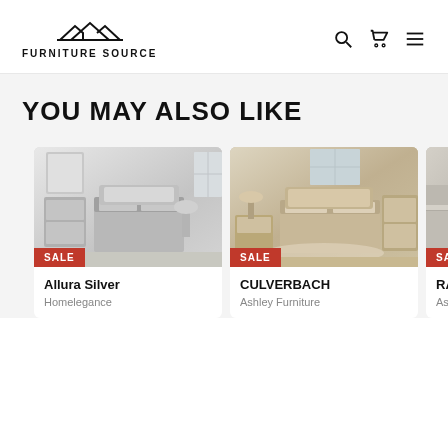[Figure (logo): Furniture Source logo with house/roof icon and text FURNITURE SOURCE]
YOU MAY ALSO LIKE
[Figure (photo): Allura Silver bedroom set product photo with SALE badge]
Allura Silver
Homelegance
[Figure (photo): CULVERBACH bedroom set product photo with SALE badge]
CULVERBACH
Ashley Furniture
[Figure (photo): RALIN bedroom set product photo with SALE badge (partially visible)]
RALIN
Ashley